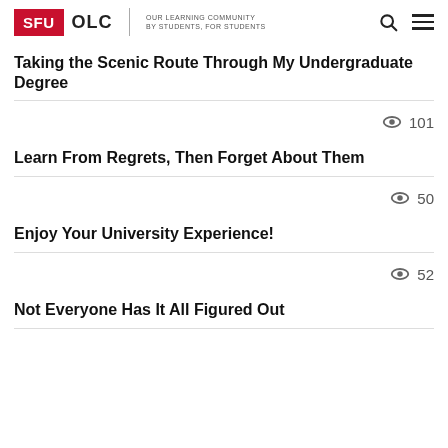SFU OLC | OUR LEARNING COMMUNITY BY STUDENTS, FOR STUDENTS
Taking the Scenic Route Through My Undergraduate Degree
101
Learn From Regrets, Then Forget About Them
50
Enjoy Your University Experience!
52
Not Everyone Has It All Figured Out